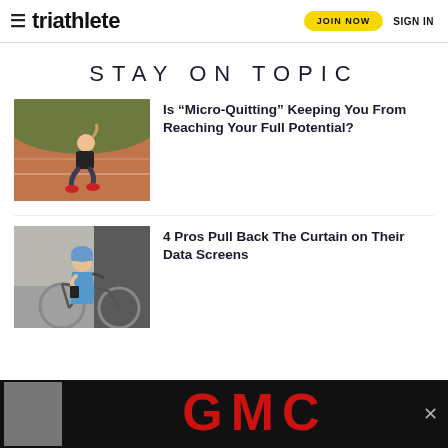triathlete | JOIN NOW | SIGN IN
STAY ON TOPIC
[Figure (photo): Woman athlete in black sports outfit sitting on a red running track, tying her shoes]
Is “Micro-Quitting” Keeping You From Reaching Your Full Potential?
[Figure (photo): Cyclist in helmet and blue jersey on a bike, looking at a device]
4 Pros Pull Back The Curtain on Their Data Screens
[Figure (logo): GMC advertisement banner with red GMC logo text on black background]